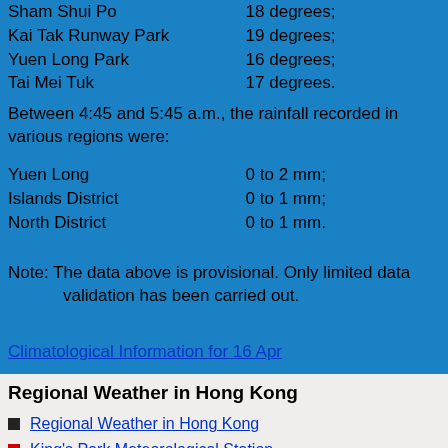Sham Shui Po    18 degrees;
Kai Tak Runway Park    19 degrees;
Yuen Long Park    16 degrees;
Tai Mei Tuk    17 degrees.
Between 4:45 and 5:45 a.m., the rainfall recorded in various regions were:
Yuen Long    0 to 2 mm;
Islands District    0 to 1 mm;
North District    0 to 1 mm.
Note: The data above is provisional. Only limited data validation has been carried out.
Climatological Information for 16 Apr
Regional Weather in Hong Kong
Regional Weather in Hong Kong
King's Park Meteorological Station
Rainfall Distribution Map
Tidal Information